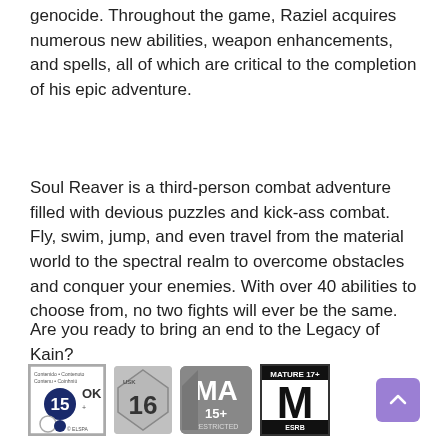genocide. Throughout the game, Raziel acquires numerous new abilities, weapon enhancements, and spells, all of which are critical to the completion of his epic adventure.
Soul Reaver is a third-person combat adventure filled with devious puzzles and kick-ass combat. Fly, swim, jump, and even travel from the material world to the spectral realm to overcome obstacles and conquer your enemies. With over 40 abilities to choose from, no two fights will ever be the same.
Are you ready to bring an end to the Legacy of Kain?
[Figure (other): Rating badges: ELSPA 15+, USK 16, MA 15+ Restricted, ESRB Mature 17+, and a scroll-to-top button]